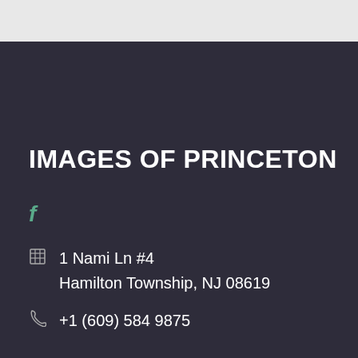IMAGES OF PRINCETON
f
1 Nami Ln #4
Hamilton Township, NJ 08619
+1 (609) 584 9875
Monday:  10am - 8pm